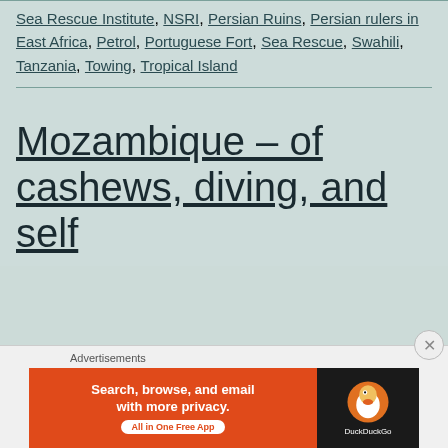Sea Rescue Institute, NSRI, Persian Ruins, Persian rulers in East Africa, Petrol, Portuguese Fort, Sea Rescue, Swahili, Tanzania, Towing, Tropical Island
Mozambique – of cashews, diving, and self
[Figure (screenshot): DuckDuckGo advertisement banner: orange left panel with text 'Search, browse, and email with more privacy. All in One Free App' and dark right panel with DuckDuckGo logo and duck icon.]